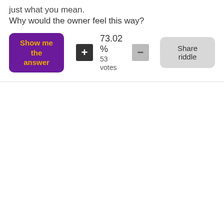just what you mean.
Why would the owner feel this way?
[Figure (screenshot): Interactive UI with Show me the answer button (purple with orange text), a plus vote button, 73.02% with 53 votes, a minus button, and a Share riddle button]
73.02 %  53 votes
Share riddle